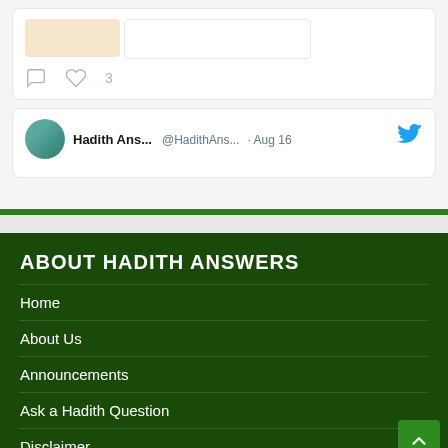[Figure (screenshot): Twitter/social media card showing Hadith Ans... @HadithAns... · Aug 16 with Twitter bird icon, avatar, image placeholder, comment icon and heart icon with count 3]
ABOUT HADITH ANSWERS
Home
About Us
Announcements
Ask a Hadith Question
Disclaimer
Contact Us